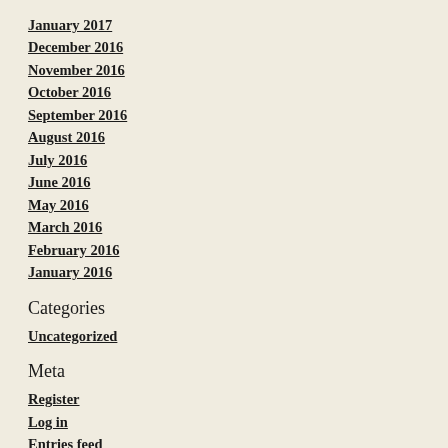January 2017
December 2016
November 2016
October 2016
September 2016
August 2016
July 2016
June 2016
May 2016
March 2016
February 2016
January 2016
Categories
Uncategorized
Meta
Register
Log in
Entries feed
Comments feed